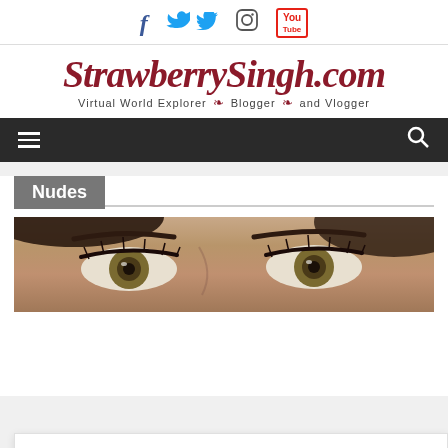Social icons: Facebook, Twitter, Instagram, YouTube
[Figure (logo): StrawberrySingh.com logo in dark red cursive script with tagline: Virtual World Explorer — Blogger — and Vlogger]
[Figure (screenshot): Dark navigation bar with hamburger menu icon on left and search icon on right]
Nudes
[Figure (photo): Close-up photo of a woman's eyes with long lashes and hazel eyes]
This site uses cookies. By continuing to use this website, you agree to their use. To find out more, read our Privacy Policy: Privacy Policy
Close and accept